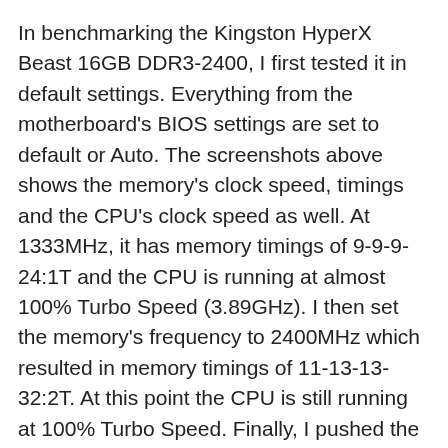In benchmarking the Kingston HyperX Beast 16GB DDR3-2400, I first tested it in default settings. Everything from the motherboard's BIOS settings are set to default or Auto. The screenshots above shows the memory's clock speed, timings and the CPU's clock speed as well. At 1333MHz, it has memory timings of 9-9-9-24:1T and the CPU is running at almost 100% Turbo Speed (3.89GHz). I then set the memory's frequency to 2400MHz which resulted in memory timings of 11-13-13-32:2T. At this point the CPU is still running at 100% Turbo Speed. Finally, I pushed the memory to 2600MHz which resulted in memory timings of 11-13-13-35:2T and bumped the CPU core speed to 4.59GHz. Below are the results of the respective configurations.